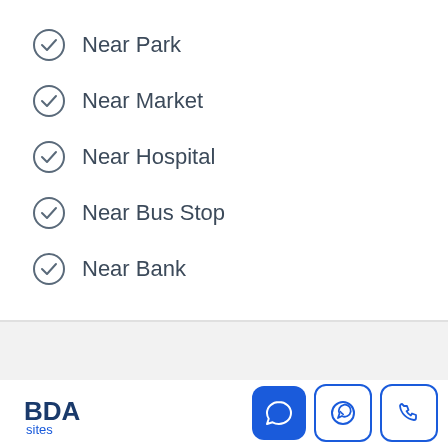Near Park
Near Market
Near Hospital
Near Bus Stop
Near Bank
Similar Listings
BDA sites